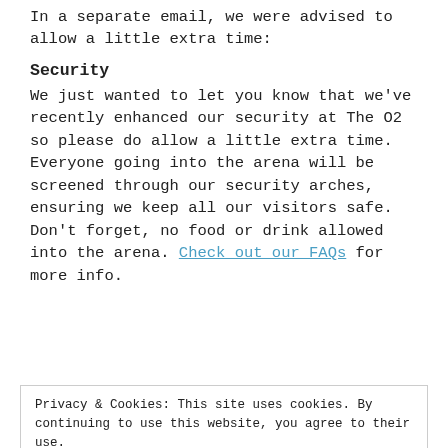In a separate email, we were advised to allow a little extra time:
Security
We just wanted to let you know that we've recently enhanced our security at The O2 so please do allow a little extra time. Everyone going into the arena will be screened through our security arches, ensuring we keep all our visitors safe. Don't forget, no food or drink allowed into the arena. Check out our FAQs for more info.
Privacy & Cookies: This site uses cookies. By continuing to use this website, you agree to their use. To find out more, including how to control cookies, see here: Cookie Policy
The Penguin did, but still found himself